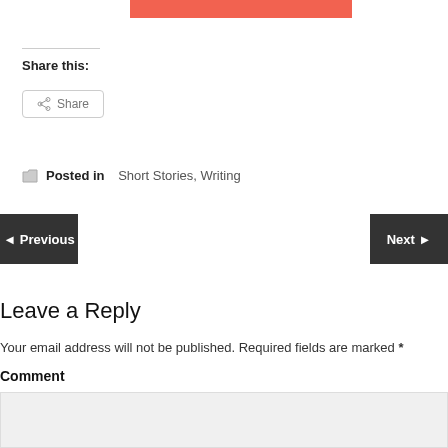[Figure (other): Red/coral colored button or banner element at top]
Share this:
Share
Posted in Short Stories, Writing
◄ Previous
Next ►
Leave a Reply
Your email address will not be published. Required fields are marked *
Comment